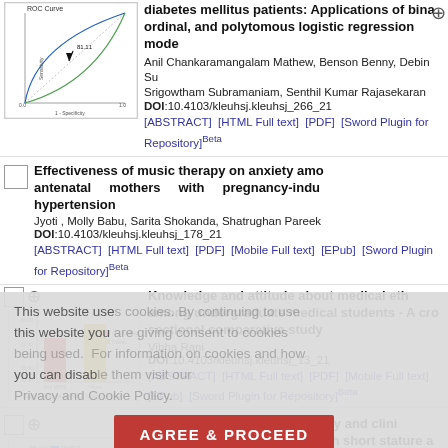[Figure (continuous-plot): ROC curve thumbnail showing crossing curves with an arrow pointing to optimal threshold]
diabetes mellitus patients: Applications of binary, ordinal, and polytomous logistic regression models
Anil Chankaramangalam Mathew, Benson Benny, Debin Su, Srigowtham Subramaniam, Senthil Kumar Rajasekaran
DOI:10.4103/kleuhsj.kleuhsj_266_21
[ABSTRACT] [HTML Full text] [PDF] [Sword Plugin for Repository]Beta
Effectiveness of music therapy on anxiety among antenatal mothers with pregnancy-induced hypertension
Jyoti , Molly Babu, Sarita Shokanda, Shatrughan Pareek
DOI:10.4103/kleuhsj.kleuhsj_178_21
[ABSTRACT] [HTML Full text] [PDF] [Mobile Full text] [EPub] [Sword Plugin for Repository]Beta
This website uses cookies. By continuing to use this website you are giving consent to cookies being used. For information on cookies and how you can disable them visit our Privacy and Cookie Policy.
AGREE & PROCEED
Knowledge and attitude about medical ethics among undergraduate medical students - A cross sectional comparative study
[Figure (bar-chart): Bar chart showing mean age of medical students and others with red and yellow bars]
Vibha Rani
DOI:10.4103/kleuhsj.kleuhsj_13_21
[ABSTRACT] [HTML Full text] [PDF] [Mobile Full text] [EPub] [Sword Plugin for Repository]Beta
A prospective study of etiology and clinical characteristics of children with short stature and response to treatment
[Figure (bar-chart): Small bar chart thumbnail for short stature study]
Vijay Chalse, Reddy Panda, Madhavi Vamula, Srirupa ...